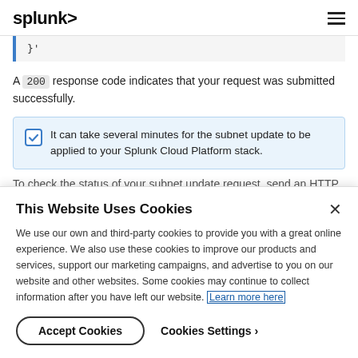splunk>
}'
A 200 response code indicates that your request was submitted successfully.
It can take several minutes for the subnet update to be applied to your Splunk Cloud Platform stack.
To check the status of your subnet update request, send an HTTP
This Website Uses Cookies
We use our own and third-party cookies to provide you with a great online experience. We also use these cookies to improve our products and services, support our marketing campaigns, and advertise to you on our website and other websites. Some cookies may continue to collect information after you have left our website. Learn more here
Accept Cookies   Cookies Settings ›